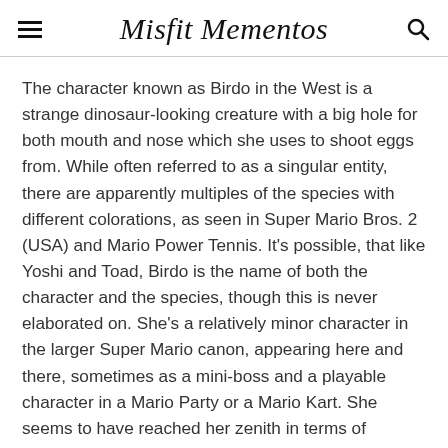Misfit Mementos
The character known as Birdo in the West is a strange dinosaur-looking creature with a big hole for both mouth and nose which she uses to shoot eggs from. While often referred to as a singular entity, there are apparently multiples of the species with different colorations, as seen in Super Mario Bros. 2 (USA) and Mario Power Tennis. It's possible, that like Yoshi and Toad, Birdo is the name of both the character and the species, though this is never elaborated on. She's a relatively minor character in the larger Super Mario canon, appearing here and there, sometimes as a mini-boss and a playable character in a Mario Party or a Mario Kart. She seems to have reached her zenith in terms of playability in the GameCube/Wii era, since after the Wii her appearances (are actually a bit sparse) but we'll get to that a bit more